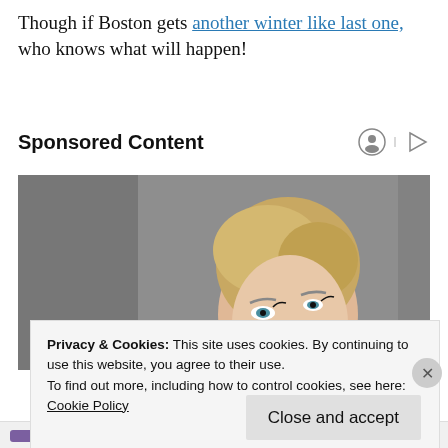Though if Boston gets another winter like last one, who knows what will happen!
Sponsored Content
[Figure (photo): Portrait photo of a young blonde woman with styled updo hair and red lipstick, looking upward, against a grey background.]
Privacy & Cookies: This site uses cookies. By continuing to use this website, you agree to their use.
To find out more, including how to control cookies, see here: Cookie Policy
Close and accept